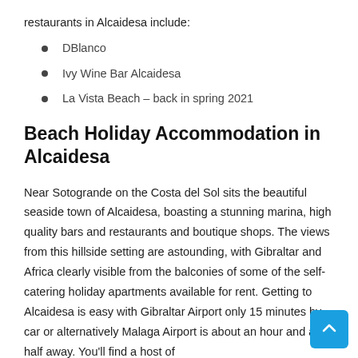restaurants in Alcaidesa include:
DBlanco
Ivy Wine Bar Alcaidesa
La Vista Beach – back in spring 2021
Beach Holiday Accommodation in Alcaidesa
Near Sotogrande on the Costa del Sol sits the beautiful seaside town of Alcaidesa, boasting a stunning marina, high quality bars and restaurants and boutique shops. The views from this hillside setting are astounding, with Gibraltar and Africa clearly visible from the balconies of some of the self-catering holiday apartments available for rent. Getting to Alcaidesa is easy with Gibraltar Airport only 15 minutes by car or alternatively Malaga Airport is about an hour and a half away. You'll find a host of